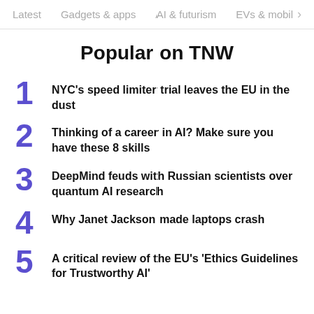Latest   Gadgets & apps   AI & futurism   EVs & mobil  >
Popular on TNW
NYC's speed limiter trial leaves the EU in the dust
Thinking of a career in AI? Make sure you have these 8 skills
DeepMind feuds with Russian scientists over quantum AI research
Why Janet Jackson made laptops crash
A critical review of the EU's 'Ethics Guidelines for Trustworthy AI'